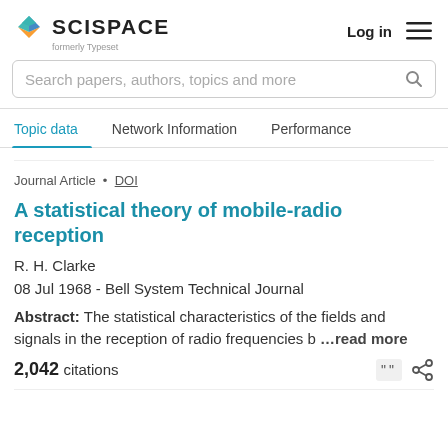[Figure (logo): SciSpace logo with colorful layered diamond icon and text 'SCISPACE formerly Typeset']
Log in  ≡
Search papers, authors, topics and more
Topic data  Network Information  Performance
Journal Article · DOI
A statistical theory of mobile-radio reception
R. H. Clarke
08 Jul 1968 - Bell System Technical Journal
Abstract: The statistical characteristics of the fields and signals in the reception of radio frequencies b …read more
2,042 citations